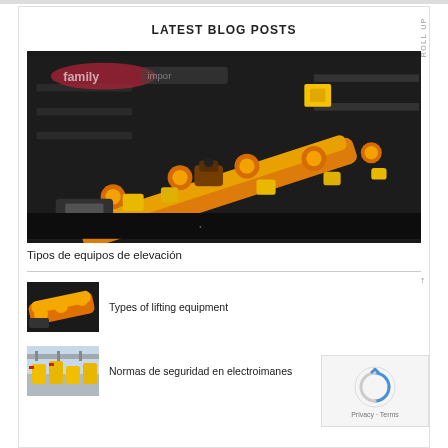LATEST BLOG POSTS
[Figure (photo): Yellow industrial lifting/crane equipment in a dark factory or exhibition setting]
Tipos de equipos de elevación
[Figure (photo): Small thumbnail of yellow lifting equipment]
Types of lifting equipment
[Figure (photo): Small thumbnail of industrial electromagnets/safety equipment in facility]
Normas de seguridad en electroimanes